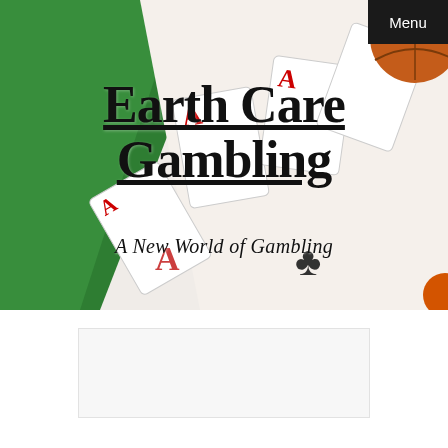[Figure (photo): Hero banner image showing playing cards (aces in red and black) fanned out on a green felt surface, with a brown/orange ball in the upper right corner. Background is green felt on the left and white/light on the right.]
Earth Care Gambling
A New World of Gambling
Menu